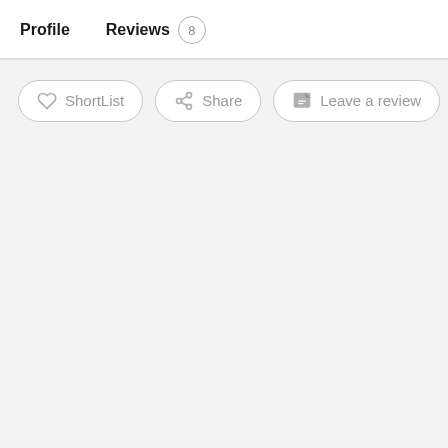Profile   Reviews 8
[Figure (screenshot): Action bar with buttons: ShortList, Share, Leave a review, and a partially visible Report button]
ShortList
Share
Leave a review
R (partially visible)